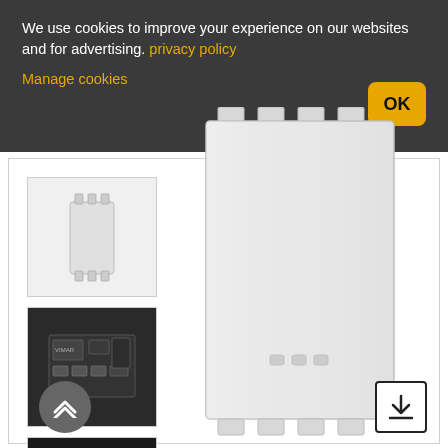We use cookies to improve your experience on our websites and for advertising. privacy policy
Manage cookies
[Figure (photo): Front view thumbnail of white electrical switch/module device]
[Figure (photo): Side/back view thumbnail of dark-colored electrical switch internals]
[Figure (photo): Bottom view thumbnail of electrical switch with wiring terminals]
[Figure (photo): Main large product image: white rectangular electrical module/switch with mounting clips on top and bottom, three small LED indicators near center-bottom]